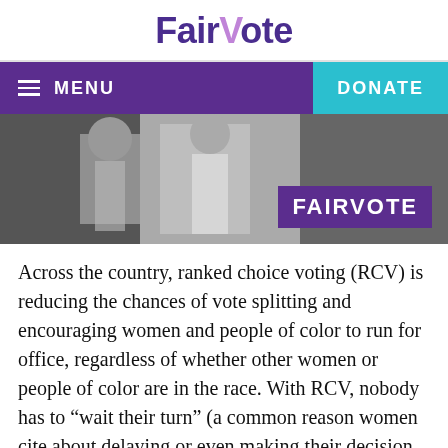FairVote
[Figure (screenshot): Navigation bar with purple background showing hamburger menu icon, MENU text, and teal DONATE button]
[Figure (photo): Black and white photo of people at what appears to a FairVote event, with a purple FAIRVOTE badge in the lower right corner]
Across the country, ranked choice voting (RCV) is reducing the chances of vote splitting and encouraging women and people of color to run for office, regardless of whether other women or people of color are in the race. With RCV, nobody has to “wait their turn” (a common reason women cite about delaying or even making their decision to run.) During Women’s History Month we’re highlighting the